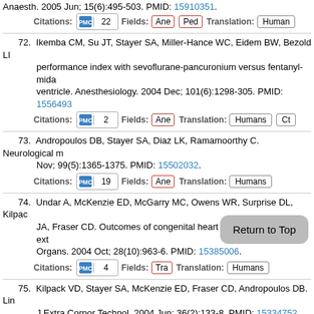Anaesth. 2005 Jun; 15(6):495-503. PMID: 15910351.
Citations: PMC 22 Fields: Ane Ped Translation: Human
72. Ikemba CM, Su JT, Stayer SA, Miller-Hance WC, Eidem BW, Bezold LI... performance index with sevoflurane-pancuronium versus fentanyl-mida... ventricle. Anesthesiology. 2004 Dec; 101(6):1298-305. PMID: 15564930
Citations: PMC 2 Fields: Ane Translation: Humans CT
73. Andropoulos DB, Stayer SA, Diaz LK, Ramamoorthy C. Neurological m... Nov; 99(5):1365-1375. PMID: 15502032.
Citations: PMC 19 Fields: Ane Translation: Humans
74. Undar A, McKenzie ED, McGarry MC, Owens WR, Surprise DL, Kilpac... JA, Fraser CD. Outcomes of congenital heart surgery patients after ext... Organs. 2004 Oct; 28(10):963-6. PMID: 15385006.
Citations: PMC 4 Fields: Tra Translation: Humans
75. Kilpack VD, Stayer SA, McKenzie ED, Fraser CD, Andropoulos DB. Lin... J Extra Corpor Technol. 2004 Jun; 36(2):133-8. PMID: 15334752.
Citations: PMC 3 Fields: Gen He... Translation:
76. Andropoulos DB, Diaz LK, Fraser CD, McKenzie ED, Stayer SA. Is bila...